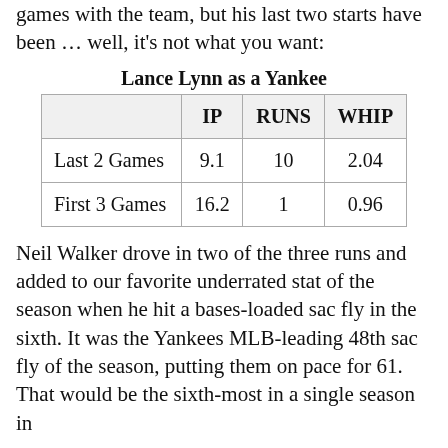games with the team, but his last two starts have been … well, it's not what you want:
Lance Lynn as a Yankee
|  | IP | RUNS | WHIP |
| --- | --- | --- | --- |
| Last 2 Games | 9.1 | 10 | 2.04 |
| First 3 Games | 16.2 | 1 | 0.96 |
Neil Walker drove in two of the three runs and added to our favorite underrated stat of the season when he hit a bases-loaded sac fly in the sixth. It was the Yankees MLB-leading 48th sac fly of the season, putting them on pace for 61. That would be the sixth-most in a single season in